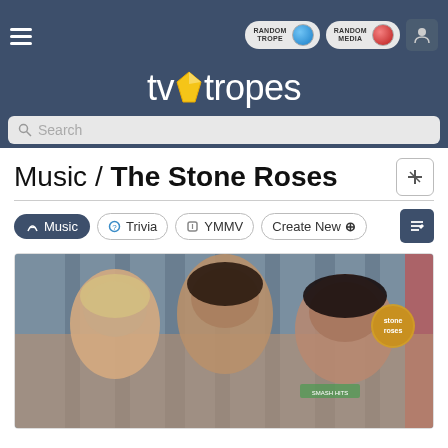TV Tropes — Random Trope, Random Media, User icon, hamburger menu, search bar
Music / The Stone Roses
Music  Trivia  YMMV  Create New
[Figure (photo): Photo of The Stone Roses band members — three young people with dark hair, in a group shot with a vehicle or fence in background; Stone Roses logo visible upper right]